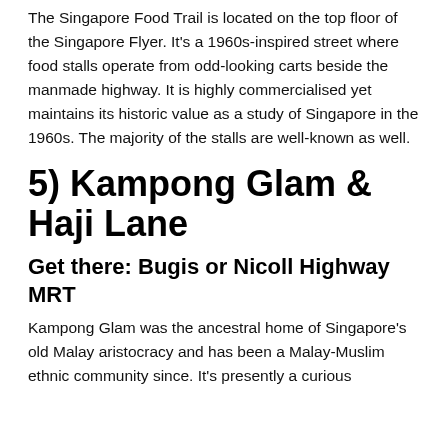The Singapore Food Trail is located on the top floor of the Singapore Flyer. It's a 1960s-inspired street where food stalls operate from odd-looking carts beside the manmade highway. It is highly commercialised yet maintains its historic value as a study of Singapore in the 1960s. The majority of the stalls are well-known as well.
5) Kampong Glam & Haji Lane
Get there: Bugis or Nicoll Highway MRT
Kampong Glam was the ancestral home of Singapore's old Malay aristocracy and has been a Malay-Muslim ethnic community since. It's presently a curious